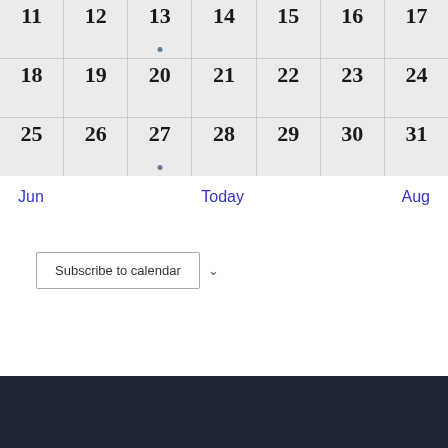| 11 | 12 | 13 | 14 | 15 | 16 | 17 |
| 18 | 19 | 20 | 21 | 22 | 23 | 24 |
| 25 | 26 | 27 | 28 | 29 | 30 | 31 |
Jun   Today   Aug
Subscribe to calendar